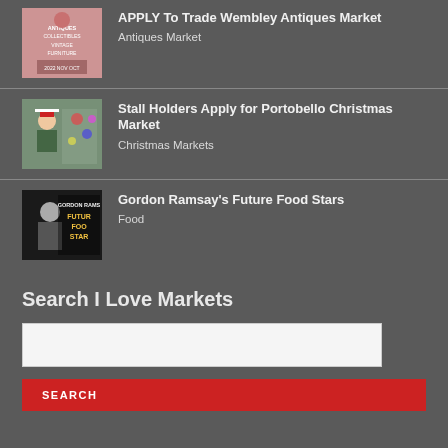[Figure (photo): Antiques market promotional image with pink overlay showing furniture and collectibles text]
APPLY To Trade Wembley Antiques Market
Antiques Market
[Figure (photo): Photo of woman in Christmas market stall with festive decorations]
Stall Holders Apply for Portobello Christmas Market
Christmas Markets
[Figure (photo): Gordon Ramsay Future Food Stars promotional image with text overlay]
Gordon Ramsay's Future Food Stars
Food
Search I Love Markets